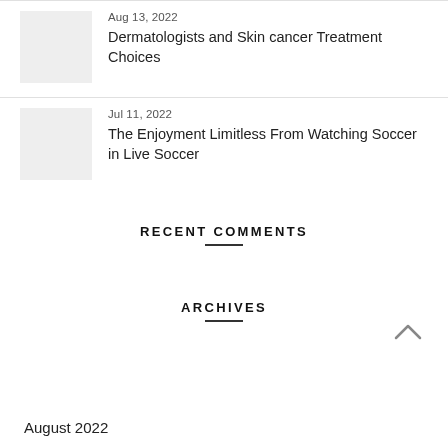[Figure (photo): Thumbnail image placeholder (gray box) for article 1]
Aug 13, 2022
Dermatologists and Skin cancer Treatment Choices
[Figure (photo): Thumbnail image placeholder (gray box) for article 2]
Jul 11, 2022
The Enjoyment Limitless From Watching Soccer in Live Soccer
RECENT COMMENTS
ARCHIVES
August 2022